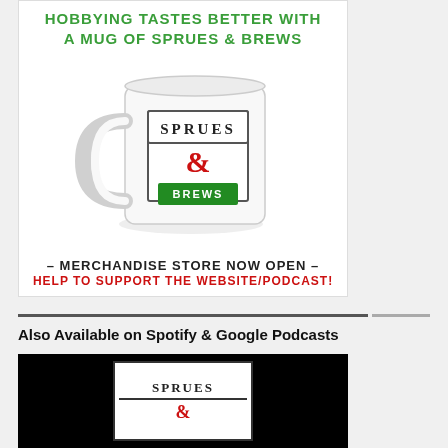[Figure (illustration): Advertisement image for Sprues & Brews merchandise store. Shows a white mug with the Sprues & Brews logo on it. Green bold text at top reads 'HOBBYING TASTES BETTER WITH A MUG OF SPRUES & BREWS'. Bottom text reads '- MERCHANDISE STORE NOW OPEN -' in black and 'HELP TO SUPPORT THE WEBSITE/PODCAST!' in red.]
Also Available on Spotify & Google Podcasts
[Figure (logo): Sprues & Brews podcast logo on black background — white card with SPRUES text and ampersand in red.]